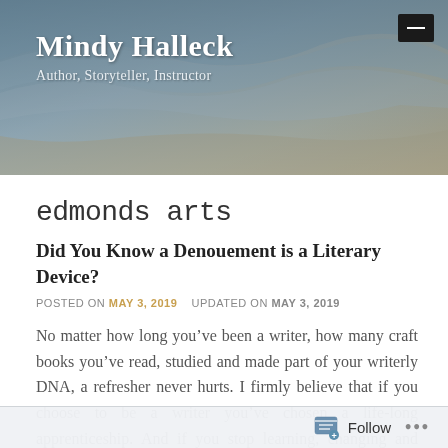Mindy Halleck
Author, Storyteller, Instructor
edmonds arts
Did You Know a Denouement is a Literary Device?
POSTED ON MAY 3, 2019   UPDATED ON MAY 3, 2019
No matter how long you’ve been a writer, how many craft books you’ve read, studied and made part of your writerly DNA, a refresher never hurts. I firmly believe that if you choose to be a writer you’ve chosen a life-long apprenticeship. And if you stop learning, changing and growing, your writing will likely go
Follow ...